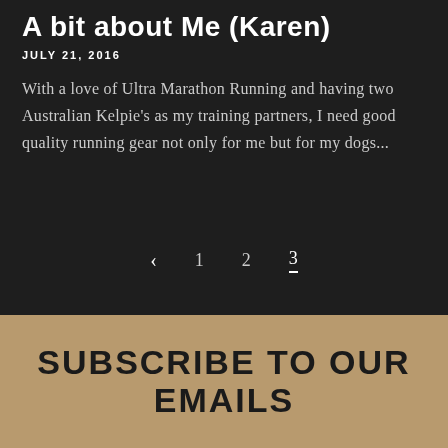A bit about Me (Karen)
JULY 21, 2016
With a love of Ultra Marathon Running and having two Australian Kelpie's as my training partners, I need good quality running gear not only for me but for my dogs...
< 1 2 3
SUBSCRIBE TO OUR EMAILS